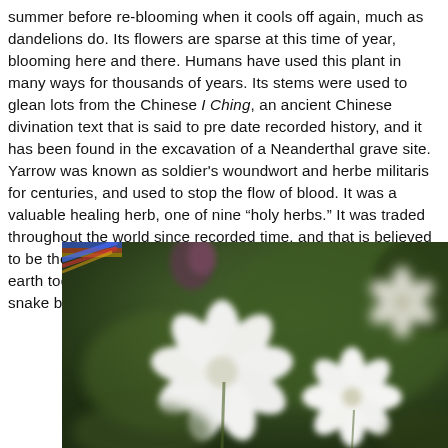summer before re-blooming when it cools off again, much as dandelions do. Its flowers are sparse at this time of year, blooming here and there. Humans have used this plant in many ways for thousands of years. Its stems were used to glean lots from the Chinese I Ching, an ancient Chinese divination text that is said to pre date recorded history, and it has been found in the excavation of a Neanderthal grave site. Yarrow was known as soldier's woundwort and herbe militaris for centuries, and used to stop the flow of blood. It was a valuable healing herb, one of nine "holy herbs." It was traded throughout the world since recorded time, and that is believed to be the reason for it being found in nearly every country on earth today. Native Americans used it for everything from snake bites to de...
[Figure (photo): Close-up photograph of white yarrow flowers with soft green blurred background. Small white petals visible with some buds. A thin strip of colorful light (rainbow-like) appears at the top left corner.]